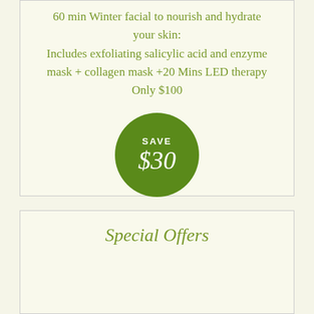60 min Winter facial to nourish and hydrate your skin: Includes exfoliating salicylic acid and enzyme mask + collagen mask +20 Mins LED therapy Only $100
[Figure (infographic): Green circle badge with text SAVE $30]
Special Offers